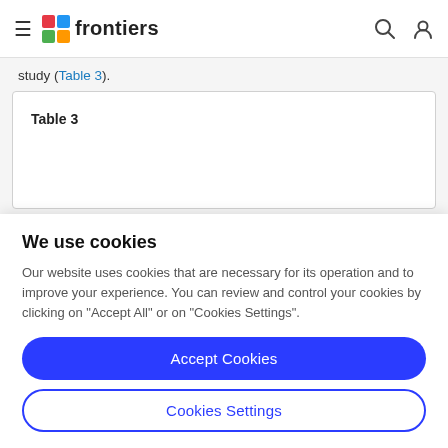frontiers
study (Table 3).
We use cookies
Our website uses cookies that are necessary for its operation and to improve your experience. You can review and control your cookies by clicking on "Accept All" or on "Cookies Settings".
Accept Cookies
Cookies Settings